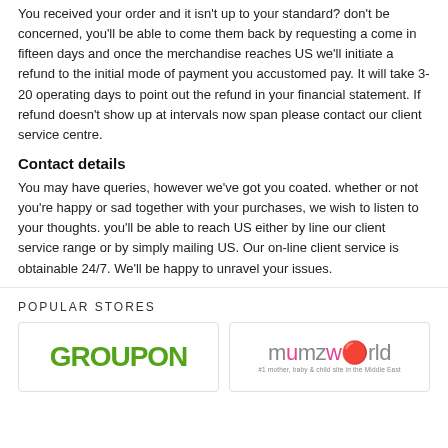You received your order and it isn't up to your standard? don't be concerned, you'll be able to come them back by requesting a come in fifteen days and once the merchandise reaches US we'll initiate a refund to the initial mode of payment you accustomed pay. It will take 3-20 operating days to point out the refund in your financial statement. If refund doesn't show up at intervals now span please contact our client service centre.
Contact details
You may have queries, however we've got you coated. whether or not you're happy or sad together with your purchases, we wish to listen to your thoughts. you'll be able to reach US either by line our client service range or by simply mailing US. Our on-line client service is obtainable 24/7. We'll be happy to unravel your issues.
POPULAR STORES
[Figure (logo): Groupon logo in green]
[Figure (logo): Mumzworld logo with tagline #1 mother, baby & child site in the Middle East]